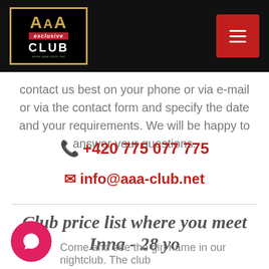AAA Exclusive Club
Contact us best on your phone or via e-mail or via the contact form and specify the date and your requirements. We will be happy to answer your questions.
+420 775 077 775
info@aaa-club.net
Club price list where you meet Inna - 28 yo
Come and see the girl name in our nightclub. The club